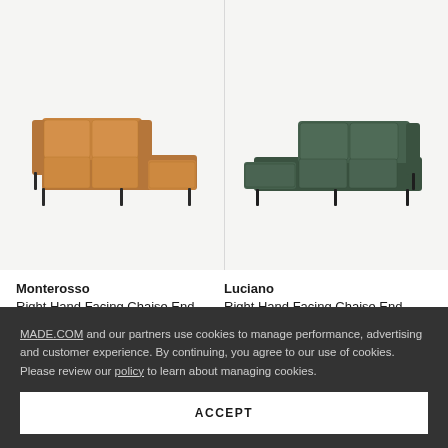[Figure (photo): Monterosso Right Hand Facing Chaise End sofa in tan/cognac leather on dark legs, left-facing chaise configuration, on light grey background]
[Figure (photo): Luciano Right Hand Facing Chaise End sofa in dark olive/forest green fabric on dark legs, right-facing chaise configuration, on light grey background]
Monterosso
Right Hand Facing Chaise End
Luciano
Right Hand Facing Chaise End
MADE.COM and our partners use cookies to manage performance, advertising and customer experience. By continuing, you agree to our use of cookies. Please review our policy to learn about managing cookies.
ACCEPT